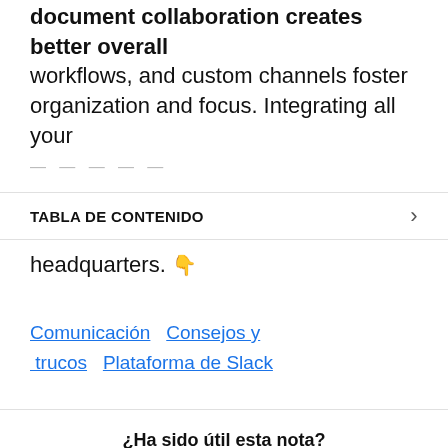document collaboration creates better overall workflows, and custom channels foster organization and focus. Integrating all your [...]
TABLA DE CONTENIDO
headquarters. 👇
Comunicación   Consejos y trucos   Plataforma de Slack
¿Ha sido útil esta nota?
¡SÍ, GRACIAS!